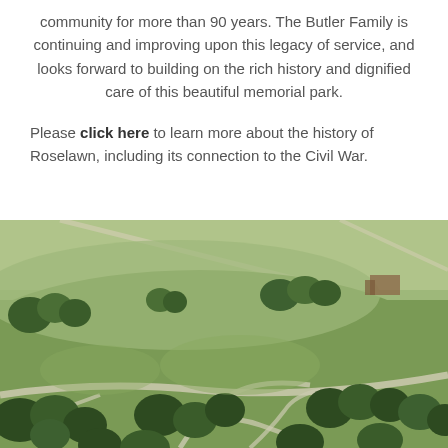community for more than 90 years. The Butler Family is continuing and improving upon this legacy of service, and looks forward to building on the rich history and dignified care of this beautiful memorial park.
Please click here to learn more about the history of Roselawn, including its connection to the Civil War.
[Figure (photo): Aerial photograph of Roselawn Memorial Park showing green rolling hills, winding paths and roads, and clusters of mature trees across the cemetery grounds.]